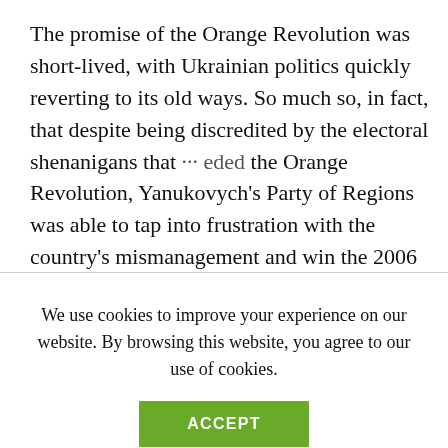The promise of the Orange Revolution was short-lived, with Ukrainian politics quickly reverting to its old ways. So much so, in fact, that despite being discredited by the electoral shenanigans that … eded the Orange Revolution, Yanukovych's Party of Regions was able to tap into frustration with the country's mismanagement and win the 2006 parliamentary elections. Four years later, Yanukovych ran again for the presidency. This time
We use cookies to improve your experience on our website. By browsing this website, you agree to our use of cookies.
ACCEPT